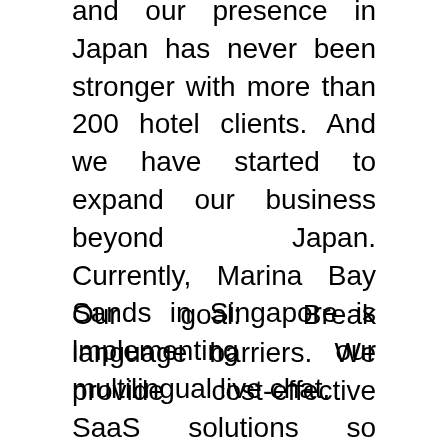and our presence in Japan has never been stronger with more than 200 hotel clients. And we have started to expand our business beyond Japan. Currently, Marina Bay Sands in Singapore is implementing our multilingual live chat.
Our goal: Break language barriers. We provide cost-effective SaaS solutions so businesses can tackle business challenges brought about by the pandemic and language barriers. Yet, we also don't just